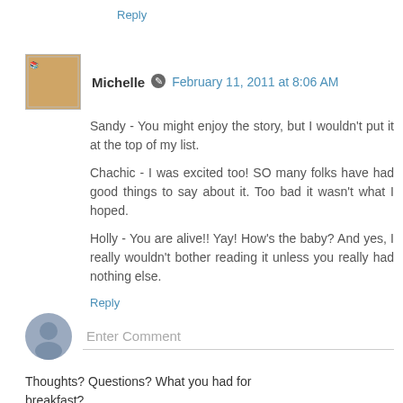Reply
Michelle  February 11, 2011 at 8:06 AM
Sandy - You might enjoy the story, but I wouldn't put it at the top of my list.

Chachic - I was excited too! SO many folks have had good things to say about it. Too bad it wasn't what I hoped.

Holly - You are alive!! Yay! How's the baby? And yes, I really wouldn't bother reading it unless you really had nothing else.
Reply
Enter Comment
Thoughts? Questions? What you had for breakfast?